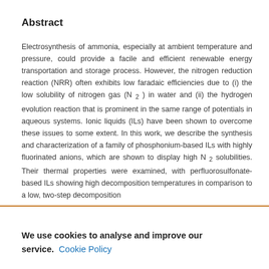Abstract
Electrosynthesis of ammonia, especially at ambient temperature and pressure, could provide a facile and efficient renewable energy transportation and storage process. However, the nitrogen reduction reaction (NRR) often exhibits low faradaic efficiencies due to (i) the low solubility of nitrogen gas (N 2 ) in water and (ii) the hydrogen evolution reaction that is prominent in the same range of potentials in aqueous systems. Ionic liquids (ILs) have been shown to overcome these issues to some extent. In this work, we describe the synthesis and characterization of a family of phosphonium-based ILs with highly fluorinated anions, which are shown to display high N 2 solubilities. Their thermal properties were examined, with perfluorosulfonate-based ILs showing high decomposition temperatures in comparison to a low, two-step decomposition
We use cookies to analyse and improve our service.  Cookie Policy